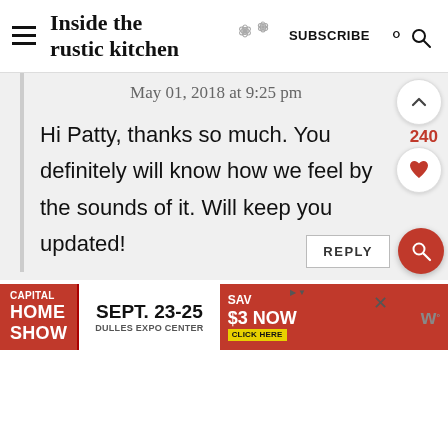Inside the rustic kitchen — SUBSCRIBE
May 01, 2018 at 9:25 pm
Hi Patty, thanks so much. You definitely will know how we feel by the sounds of it. Will keep you updated!
[Figure (screenshot): Reply button and social interaction buttons (scroll-up arrow, heart/like button with count 240, reply button, red search button)]
[Figure (screenshot): Advertisement banner: Capital Home Show, Sept. 23-25, Dulles Expo Center, Save $3 Now, Click Here]